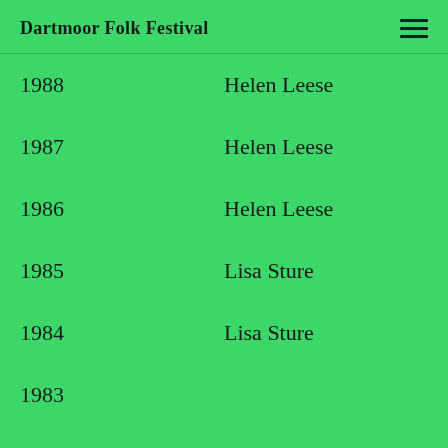Dartmoor Folk Festival
| Year | Name |
| --- | --- |
| 1988 | Helen Leese |
| 1987 | Helen Leese |
| 1986 | Helen Leese |
| 1985 | Lisa Sture |
| 1984 | Lisa Sture |
| 1983 |  |
| 1982 |  |
| 1981 |  |